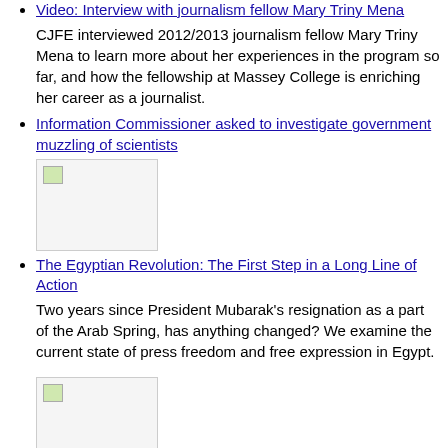Video: Interview with journalism fellow Mary Triny Mena — CJFE interviewed 2012/2013 journalism fellow Mary Triny Mena to learn more about her experiences in the program so far, and how the fellowship at Massey College is enriching her career as a journalist.
Information Commissioner asked to investigate government muzzling of scientists
[Figure (photo): Thumbnail image placeholder for Egyptian Revolution article]
The Egyptian Revolution: The First Step in a Long Line of Action — Two years since President Mubarak's resignation as a part of the Arab Spring, has anything changed? We examine the current state of press freedom and free expression in Egypt.
[Figure (photo): Thumbnail image placeholder for Bahrain article]
Take Action: Tell the King of Bahrain free expression is not a crime — Who will fight for free expression and human rights in